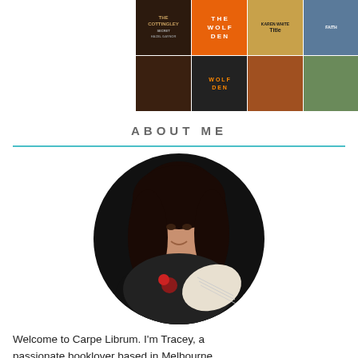[Figure (photo): Grid of book covers visible at the top of the page, partially cropped]
ABOUT ME
[Figure (photo): Circular profile photo of a young woman with dark hair, smiling and holding an open book, against a dark background]
Welcome to Carpe Librum. I'm Tracey, a passionate booklover based in Melbourne